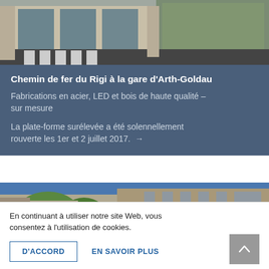[Figure (photo): Exterior view of a train station building with glass facades and a zebra crossing in the foreground — Chemin de fer du Rigi at Arth-Goldau station]
Chemin de fer du Rigi à la gare d'Arth-Goldau
Fabrications en acier, LED et bois de haute qualité – sur mesure
La plate-forme surélevée a été solennellement rouverte les 1er et 2 juillet 2017. →
[Figure (photo): Exterior view of a modern residential or commercial building with balconies and trees in the foreground against a blue sky]
En continuant à utiliser notre site Web, vous consentez à l'utilisation de cookies.
D'ACCORD
EN SAVOIR PLUS